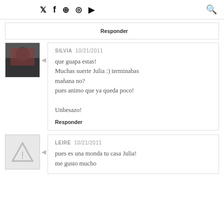Social media icons: Twitter, Facebook, Pinterest, Instagram, YouTube, Search
Responder
SILVIA 10/21/2011
que guapa estas!
Muchas suerte Julia :) terminabas mañana no?
pues animo que ya queda poco!

Unbesazo!

Responder
LEIRE 10/21/2011
pues es una monda tu casa Julia!
me gusto mucho